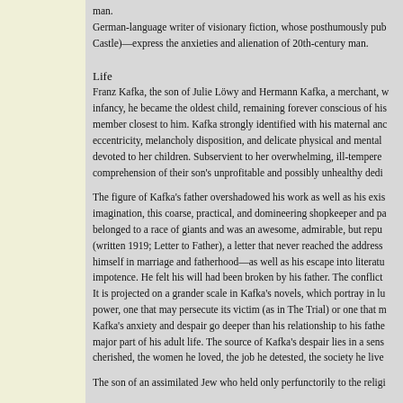German-language writer of visionary fiction, whose posthumously published novels—The Trial, The Castle)—express the anxieties and alienation of 20th-century man.
Life
Franz Kafka, the son of Julie Löwy and Hermann Kafka, a merchant, was born in Prague. During his infancy, he became the oldest child, remaining forever conscious of his position as the only male family member closest to him. Kafka strongly identified with his maternal ancestry, inheriting its eccentricity, melancholy disposition, and delicate physical and mental constitution. His mother was devoted to her children. Subservient to her overwhelming, ill-tempered husband, she shared his lack of comprehension of their son's unprofitable and possibly unhealthy dedication to writing.
The figure of Kafka's father overshadowed his work as well as his existence. In Kafka's imagination, this coarse, practical, and domineering shopkeeper and patriarch was a creature who belonged to a race of giants and was an awesome, admirable, but repulsive tyrant. In Brief an den Vater (written 1919; Letter to Father), a letter that never reached the addressee, Kafka blamed his father for himself in marriage and fatherhood—as well as his escape into literature as a compensation for his impotence. He felt his will had been broken by his father. The conflict is specifically autobiographical. It is projected on a grander scale in Kafka's novels, which portray in lurid images the nature of absolute power, one that may persecute its victim (as in The Trial) or one that remains inaccessible (as in The Castle). Kafka's anxiety and despair go deeper than his relationship to his father, which occupied him for a major part of his adult life. The source of Kafka's despair lies in a sense of spiritual emptiness. He cherished, the women he loved, the job he detested, the society he lived in.
The son of an assimilated Jew who held only perfunctorily to the religion,